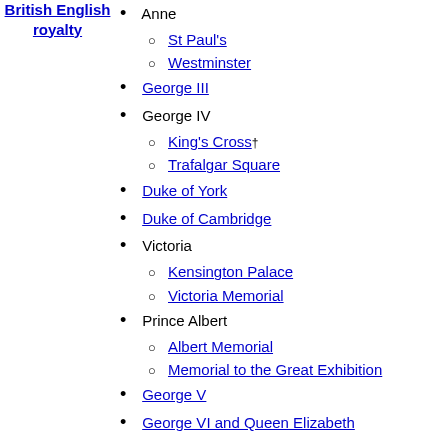British English royalty
Anne
St Paul's
Westminster
George III
George IV
King's Cross†
Trafalgar Square
Duke of York
Duke of Cambridge
Victoria
Kensington Palace
Victoria Memorial
Prince Albert
Albert Memorial
Memorial to the Great Exhibition
George V
George VI and Queen Elizabeth
John Betjeman
Marc Bolan
Robert Burns
Thomas Carlyle
Charlie Chaplin
Geoffrey Chaucer†
Agatha Christie
John Donne